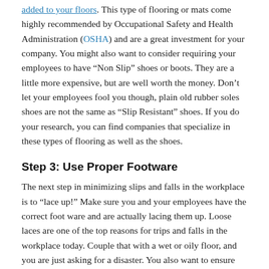added to your floors. This type of flooring or mats come highly recommended by Occupational Safety and Health Administration (OSHA) and are a great investment for your company. You might also want to consider requiring your employees to have "Non Slip" shoes or boots. They are a little more expensive, but are well worth the money. Don't let your employees fool you though, plain old rubber soles shoes are not the same as "Slip Resistant" shoes. If you do your research, you can find companies that specialize in these types of flooring as well as the shoes.
Step 3: Use Proper Footware
The next step in minimizing slips and falls in the workplace is to "lace up!" Make sure you and your employees have the correct foot ware and are actually lacing them up. Loose laces are one of the top reasons for trips and falls in the workplace today. Couple that with a wet or oily floor, and you are just asking for a disaster. You also want to ensure you have ample